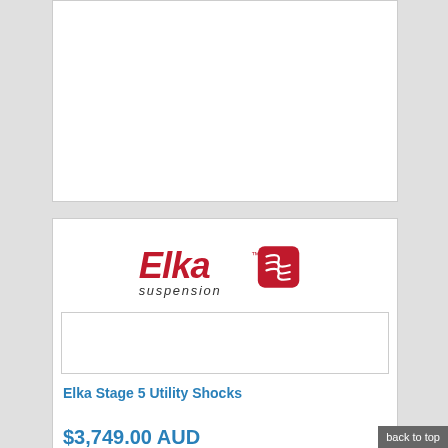[Figure (other): Partial product card at top of page, cut off]
[Figure (logo): Elka Suspension logo — red stylized text with spring graphic]
[Figure (photo): Product image placeholder box for Elka Stage 5 Utility Shocks]
Elka Stage 5 Utility Shocks
$3,749.00 AUD
Release the full potential of your sports-utility quad
back to top